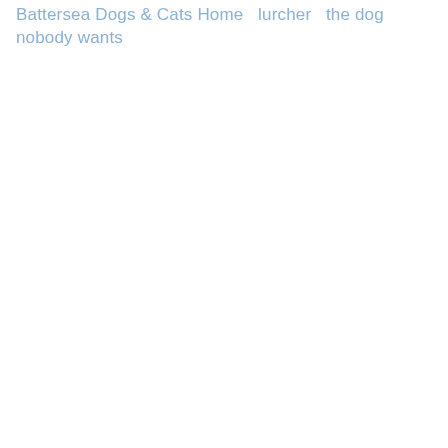Battersea Dogs & Cats Home   lurcher   the dog nobody wants